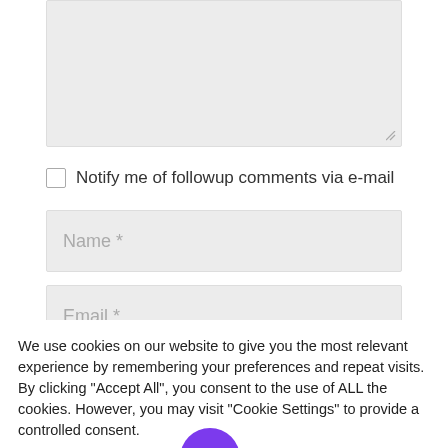[Figure (screenshot): Textarea input box (grayed out, resizable) for comment entry]
Notify me of followup comments via e-mail
[Figure (screenshot): Name * text input field (gray background, placeholder text)]
[Figure (screenshot): Email * text input field (gray background, placeholder text)]
We use cookies on our website to give you the most relevant experience by remembering your preferences and repeat visits. By clicking “Accept All”, you consent to the use of ALL the cookies. However, you may visit “Cookie Settings” to provide a controlled consent.
[Figure (screenshot): Cookie Settings button and Accept All button, with purple chat bubble icon overlapping]